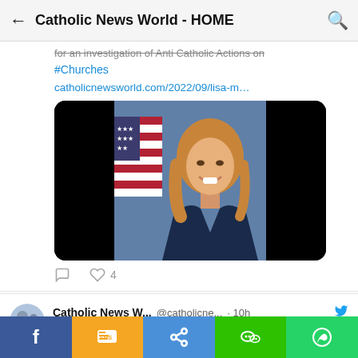Catholic News World - HOME
...for an investigation of Anti-Catholic Actions on #Churches
catholicnewsworld.com/2022/09/lisa-m…
[Figure (photo): Woman with shoulder-length blonde hair wearing a dark blazer, smiling, standing in front of an American flag against a blue background. Image has black bars on left and right sides.]
◯  ♡ 4
Catholic News W...  @catholicne...  · 10h
History of the Holy Life of Saintly #Pope John Paul I, the #SmilingPope who will be #Beatified